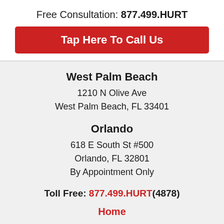Free Consultation: 877.499.HURT
Tap Here To Call Us
West Palm Beach
1210 N Olive Ave
West Palm Beach, FL 33401
Orlando
618 E South St #500
Orlando, FL 32801
By Appointment Only
Toll Free: 877.499.HURT(4878)
Home